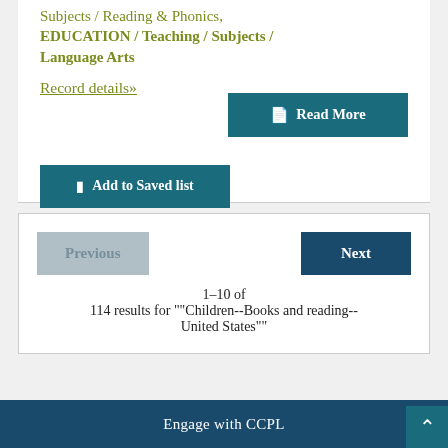Subjects / Reading & Phonics, EDUCATION / Teaching / Subjects / Language Arts
Record details»
Read More
Add to Saved list
Previous
Next
1–10 of 114 results for ""Children--Books and reading--United States""
Engage with CCPL